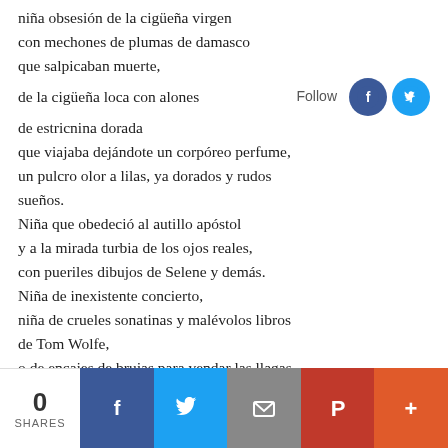niña obsesión de la cigüeña virgen
con mechones de plumas de damasco
que salpicaban muerte,
de la cigüeña loca con alones
de estricnina dorada
que viajaba dejándote un corpóreo perfume,
un pulcro olor a lilas, ya dorados y rudos sueños.
Niña que obedeció al autillo apóstol
y a la mirada turbia de los ojos reales,
con pueriles dibujos de Selene y demás.
Niña de inexistente concierto,
niña de crueles sonatinas y malévolos libros de Tom Wolfe,
o de encajes de brujas para vendar las llagas
de los corzos heridos,
[Figure (other): Follow button with Facebook and Twitter circular icons]
0 SHARES | Facebook | Twitter | Email | Pinterest | More